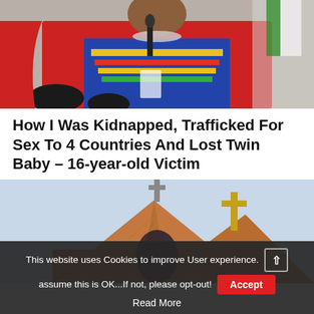[Figure (photo): Woman in colorful traditional African attire with red wrap and beaded necklace, seated at a podium with a microphone, Nigerian flag visible in background]
How I Was Kidnapped, Trafficked For Sex To 4 Countries And Lost Twin Baby – 16-year-old Victim
[Figure (photo): Church building with a large cross on top of a pointed rooftop, brick facade, blue sky background]
This website uses Cookies to improve User experience. assume this is OK...If not, please opt-out! Accept Read More